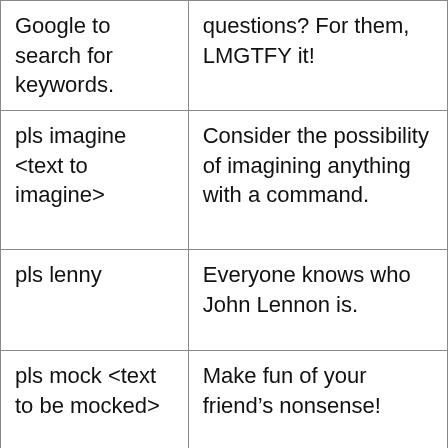| Command | Description |
| --- | --- |
| Google to search for keywords. | questions? For them, LMGTFY it! |
| pls imagine <text to imagine> | Consider the possibility of imagining anything with a command. |
| pls lenny | Everyone knows who John Lennon is. |
| pls mock <text to be mocked> | Make fun of your friend’s nonsense! |
| pls owo | What is this, owo? |
| pls partyfrog <what you want the bot to say> | Make the bot say anything you want in the shape of a party frog! |